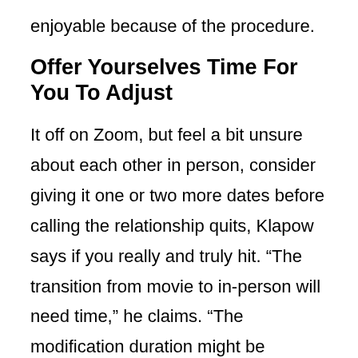enjoyable because of the procedure.
Offer Yourselves Time For You To Adjust
It off on Zoom, but feel a bit unsure about each other in person, consider giving it one or two more dates before calling the relationship quits, Klapow says if you really and truly hit. “The transition from movie to in-person will need time,” he claims. “The modification duration might be significantly less than perfect.” However the relationship that is right continue steadily to feel appropriate